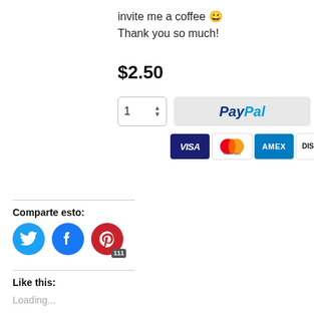invite me a coffee 😀
Thank you so much!
$2.50
[Figure (screenshot): Quantity selector with value 1 and up/down arrows, PayPal button, and credit card icons (VISA, Mastercard, AMEX, DISCOVER)]
Comparte esto:
[Figure (infographic): Social share icons: Twitter (blue circle), Facebook (blue circle), Pinterest (red circle with badge 111)]
Like this:
Loading...